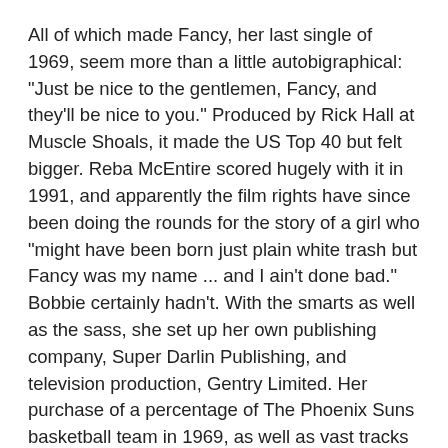All of which made Fancy, her last single of 1969, seem more than a little autobigraphical: "Just be nice to the gentlemen, Fancy, and they'll be nice to you." Produced by Rick Hall at Muscle Shoals, it made the US Top 40 but felt bigger. Reba McEntire scored hugely with it in 1991, and apparently the film rights have since been doing the rounds for the story of a girl who "might have been born just plain white trash but Fancy was my name ... and I ain't done bad." Bobbie certainly hadn't. With the smarts as well as the sass, she set up her own publishing company, Super Darlin Publishing, and television production, Gentry Limited. Her purchase of a percentage of The Phoenix Suns basketball team in 1969, as well as vast tracks of land in California, made her a wealthy woman. Somehow, she also found time to record a stack of songs that remained unreleased, including Show Off, Donovan's Skipalong Sam, and the exquisite Smoke, unavailable until recently and all recommended.
In 1970 Johnny Cash introduced her on TV, singing Fancy, as "our Mississippi River Delta Queen, Bobbie Gentry." Internationally, she had now consolidated after her first instant rush of fame and was a genuine star. In Vegas she